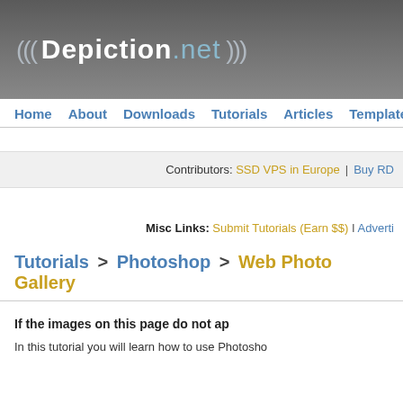[Figure (logo): Depiction.net website logo on dark gray gradient header bar with wave decorations]
Home  About  Downloads  Tutorials  Articles  Templates  Reso...
Contributors: SSD VPS in Europe | Buy RD...
Misc Links: Submit Tutorials (Earn $$) I Adverti...
Tutorials > Photoshop > Web Photo Gallery
If the images on this page do not ap...
In this tutorial you will learn how to use Photosho...